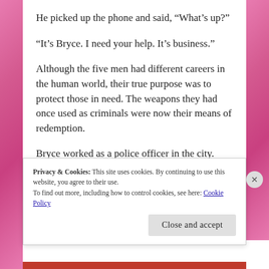He picked up the phone and said, “What’s up?”
“It’s Bryce. I need your help. It’s business.”
Although the five men had different careers in the human world, their true purpose was to protect those in need. The weapons they had once used as criminals were now their means of redemption.
Bryce worked as a police officer in the city. Sometimes he called upon his brothers to help him resolve crimes in which the human world could
Privacy & Cookies: This site uses cookies. By continuing to use this website, you agree to their use.
To find out more, including how to control cookies, see here: Cookie Policy